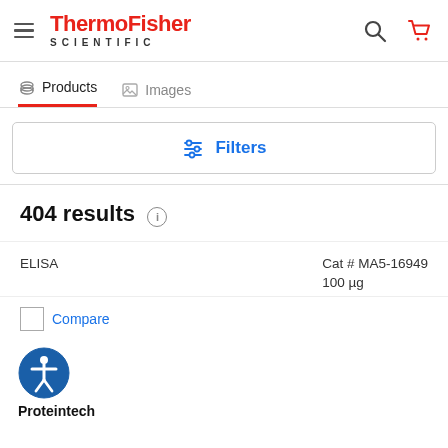ThermoFisher SCIENTIFIC
Products | Images
Filters
404 results
ELISA	Cat # MA5-16949
100 µg
Compare
Proteintech